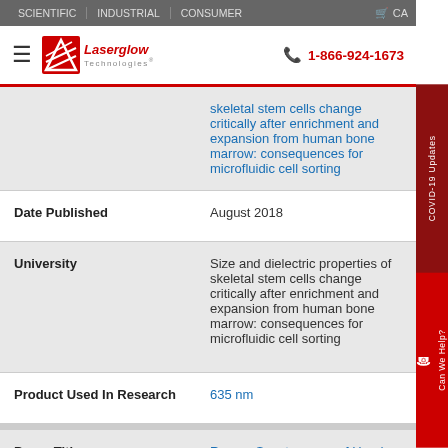SCIENTIFIC | INDUSTRIAL | CONSUMER | CART | COVID-19 Updates
Laserglow Technologies | 1-866-924-1673
| Field | Value |
| --- | --- |
|  | skeletal stem cells change critically after enrichment and expansion from human bone marrow: consequences for microfluidic cell sorting |
| Date Published | August 2018 |
| University | Size and dielectric properties of skeletal stem cells change critically after enrichment and expansion from human bone marrow: consequences for microfluidic cell sorting |
| Product Used In Research | 635 nm |
| Paper Title | Raman Spectroscopy of Head and Neck Cancer: Separation of Malignant and Healthy Tissue... |